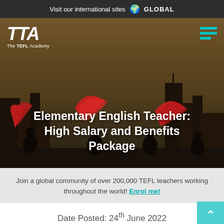Visit our international sites 🌐 GLOBAL
[Figure (screenshot): Hero image showing silhouettes of people waving red fans against a city skyline at dusk, with TTA The TEFL Academy logo top-left and hamburger menu top-right. Title overlaid: 'Elementary English Teacher: High Salary and Benefits Package']
Elementary English Teacher: High Salary and Benefits Package
Join a global community of over 200,000 TEFL teachers working throughout the world! Enrol me!
Date Posted: 24th June 2022